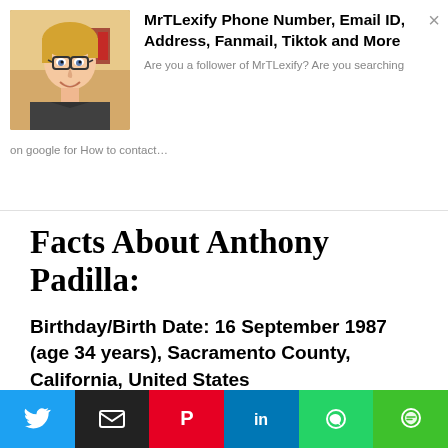[Figure (photo): Profile photo of a young man with glasses and blonde hair, smiling, wearing a dark hoodie]
MrTLexify Phone Number, Email ID, Address, Fanmail, Tiktok and More
Are you a follower of MrTLexify? Are you searching on google for How to contact…
Facts About Anthony Padilla:
Birthday/Birth Date: 16 September 1987 (age 34 years), Sacramento County, California, United States
[Figure (infographic): Social media share buttons: Twitter, Email, Pinterest, LinkedIn, WhatsApp, Line]